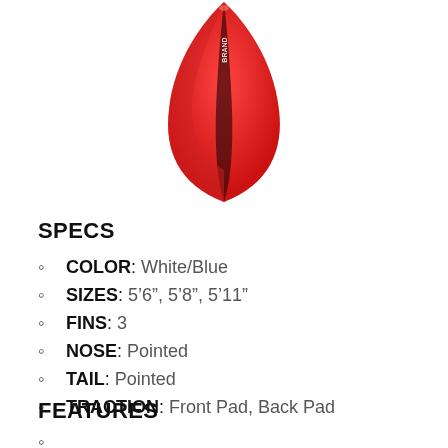[Figure (photo): Red surfboard viewed from above/top, pointed nose, with dark stripe markings and a brand logo, shown against white background]
SPECS
COLOR: White/Blue
SIZES: 5‘6”, 5‘8”, 5‘11”
FINS: 3
NOSE: Pointed
TAIL: Pointed
TRACTION: Front Pad, Back Pad
FEATURES